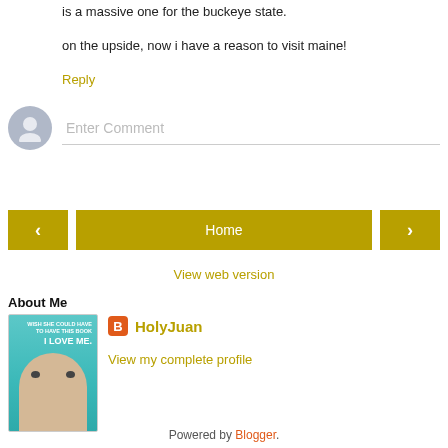is a massive one for the buckeye state.
on the upside, now i have a reason to visit maine!
Reply
[Figure (other): Comment entry area with user avatar circle and 'Enter Comment' placeholder text input field]
[Figure (other): Navigation bar with left arrow button, Home button, and right arrow button in dark yellow/gold color]
View web version
About Me
[Figure (photo): Book cover image showing a person's face with 'I Love Me.' text on a teal/cyan background]
HolyJuan
View my complete profile
Powered by Blogger.